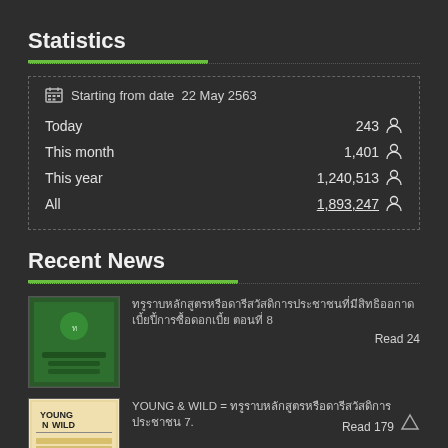Statistics
| Starting from date | 22 May 2563 |
| Today | 243 |
| This month | 1,401 |
| This year | 1,240,513 |
| All | 1,893,247 |
Recent News
[Figure (illustration): Thumbnail image for Thai news article, green background with text]
Thai text news title - article 8, Read 24
[Figure (illustration): Thumbnail image for YOUNG & WILD book cover]
YOUNG & WILD = Thai text 7., Read 179